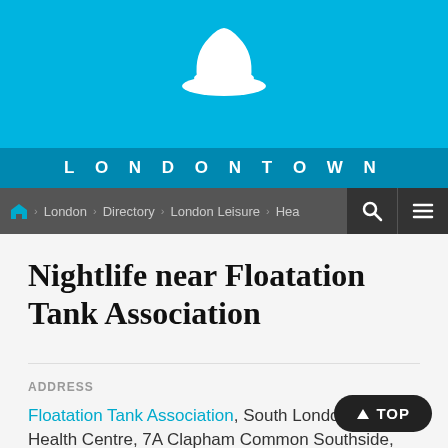[Figure (logo): LondonTown website header with sky blue background, white bowler hat logo, and LONDONTOWN text in dark blue bar]
LONDONTOWN
London > Directory > London Leisure > Hea...
Nightlife near Floatation Tank Association
ADDRESS
Floatation Tank Association, South London Natural Health Centre, 7A Clapham Common Southside, SW4 7AA